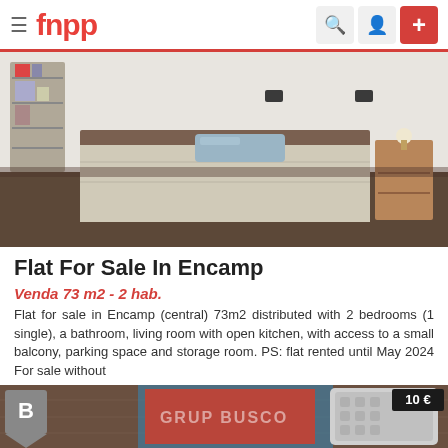fnpp — navigation bar with hamburger menu, logo, search, user, and add (+) button
[Figure (photo): Bedroom interior photo showing a double bed with beige/grey bedding, blue pillow, wooden headboard, wooden nightstand on the right, glass shelving unit on the left with items on it, white walls.]
Flat For Sale In Encamp
Venda 73 m2 - 2 hab.
Flat for sale in Encamp (central) 73m2 distributed with 2 bedrooms (1 single), a bathroom, living room with open kitchen, with access to a small balcony, parking space and storage room. PS: flat rented until May 2024 For sale without
★ 5   © 19/08/2022   👁 103 VISITS
[Figure (photo): Product listing thumbnail showing a dark brown background with a red/orange box and blue strip in the center, a tablet device on the right, a grey badge with 'B' on the left, watermark text 'GRUP BUSCO', and a price tag '10 €' in the upper right corner.]